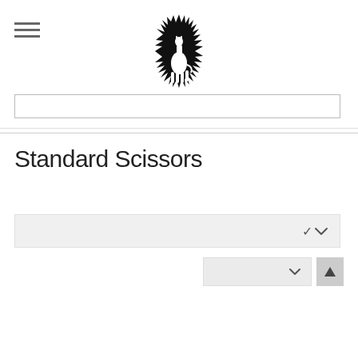Navigation header with hamburger menu, giraffe logo, and search bar
Standard Scissors
[Figure (other): Filter/sort dropdown bar with chevron]
[Figure (other): Sort dropdown and up-arrow button]